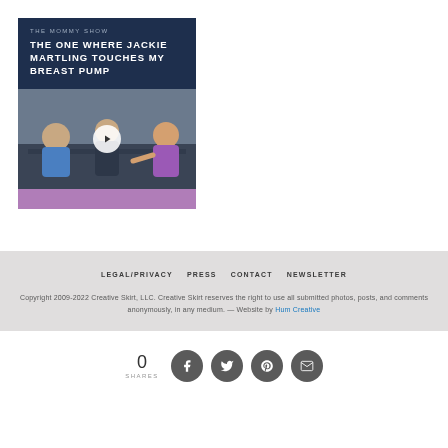[Figure (screenshot): Video card with dark navy header showing 'THE MOMMY SHOW' label and bold white title 'THE ONE WHERE JACKIE MARTLING TOUCHES MY BREAST PUMP', below is a TV show thumbnail with three people seated and a play button overlay, followed by a mauve/purple bar.]
LEGAL/PRIVACY   PRESS   CONTACT   NEWSLETTER
Copyright 2009-2022 Creative Skirt, LLC. Creative Skirt reserves the right to use all submitted photos, posts, and comments anonymously, in any medium. — Website by Hum Creative
0
SHARES